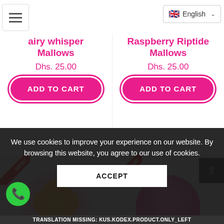[Figure (screenshot): Website navigation bar with hamburger menu icon on left and English language selector with UK flag on right]
airy whisper Mallows
Raspberry Riptide Mallows
Dhs. 25.00
Dhs. 25.00
ADD TO CART
ADD TO CART
[Figure (photo): Pink marshmallow with yellow flower decoration and NEW badge]
[Figure (photo): Pink frosted marshmallow with NEW badge]
We use cookies to improve your experience on our website. By browsing this website, you agree to our use of cookies.
ACCEPT
TRANSLATION MISSING: KUS.KODEX.PRODUCT.ONLY_LEFT